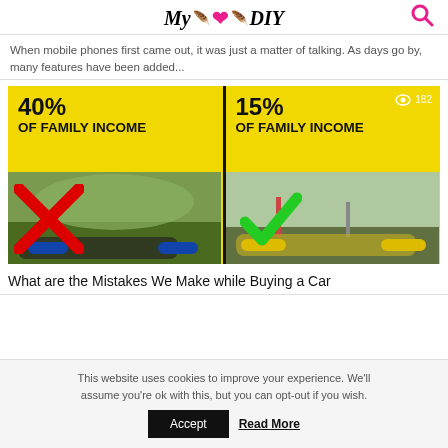My ❤ DIY
When mobile phones first came out, it was just a matter of talking. As days go by, many features have been added...
[Figure (infographic): Split infographic comparing car purchase costs: left side shows red X with '40% OF FAMILY INCOME', right side shows green checkmark with '15% OF FAMILY INCOME'. Eye icon with '182' views badge in top right.]
What are the Mistakes We Make while Buying a Car
This website uses cookies to improve your experience. We'll assume you're ok with this, but you can opt-out if you wish.
Accept  Read More